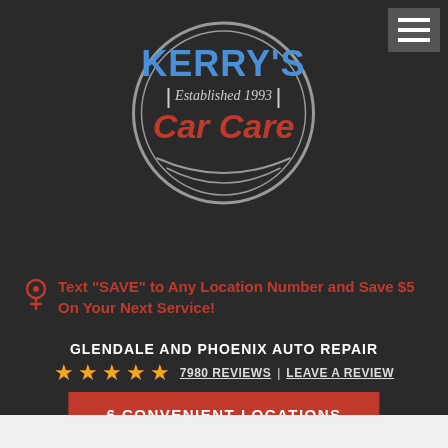[Figure (logo): Kerry's Car Care logo — circular emblem with blue KERRY'S text, Established 1993, red Car Care text]
Text "SAVE" to Any Location Number and Save $5 On Your Next Service!
GLENDALE AND PHOENIX AUTO REPAIR
★★★★★  7980 REVIEWS | LEAVE A REVIEW
6 CONVENIENT LOCATIONS
Mon - Sat: 7:00 AM - 7:00 PM
[Figure (logo): Airpark Auto Service Kerry's circular badge logo — blue circular badge with car graphic and Kerry's script text]
HOME   VEHICLES   PLYMOUTH